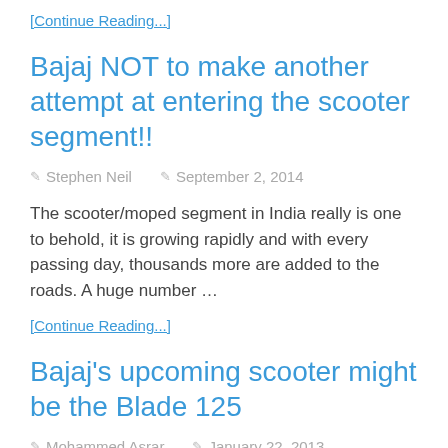[Continue Reading...]
Bajaj NOT to make another attempt at entering the scooter segment!!
✎ Stephen Neil   ✎ September 2, 2014
The scooter/moped segment in India really is one to behold, it is growing rapidly and with every passing day, thousands more are added to the roads. A huge number …
[Continue Reading...]
Bajaj's upcoming scooter might be the Blade 125
✎ Mohammed Asrar   ✎ January 22, 2013